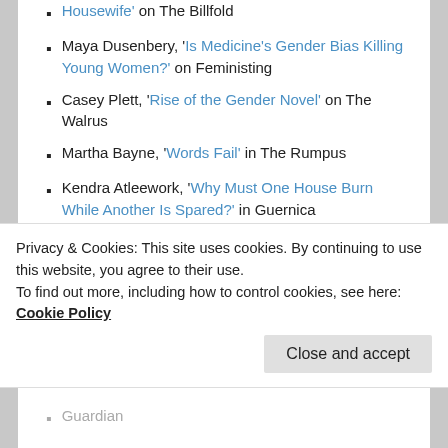Housewife' on The Billfold
Maya Dusenbery, 'Is Medicine's Gender Bias Killing Young Women?' on Feministing
Casey Plett, 'Rise of the Gender Novel' on The Walrus
Martha Bayne, 'Words Fail' in The Rumpus
Kendra Atleework, 'Why Must One House Burn While Another Is Spared?' in Guernica
Mallory Ortberg, 'Children's Stories Made Horrific: The Frog Prince' in The Toast
Nathan Smith, 'Feminist Artifacts: The Archive of Germaine Greer' in the Los Angeles Review of Books
Meera Syal, 'Growing up between cultures is tough
Privacy & Cookies: This site uses cookies. By continuing to use this website, you agree to their use. To find out more, including how to control cookies, see here: Cookie Policy
Guardian